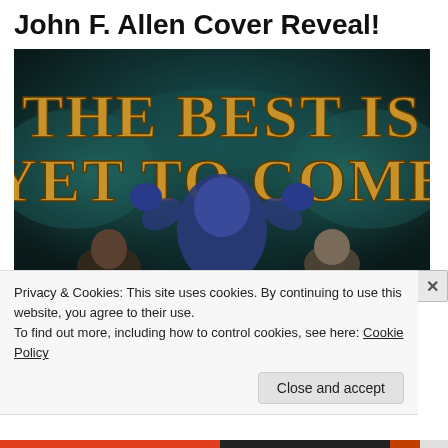John F. Allen Cover Reveal!
[Figure (illustration): Book cover illustration for 'The Best Is Yet To Come' by John F. Allen. Dark teal background with smoke/mist effects. Large golden/yellow worn serif text reads 'THE BEST IS YET TO COME'. Three fantasy characters visible: a large blue-skinned muscular creature with arms raised in the center, a bald figure to the lower left, and a human-looking figure to the lower right.]
Privacy & Cookies: This site uses cookies. By continuing to use this website, you agree to their use.
To find out more, including how to control cookies, see here: Cookie Policy
Close and accept